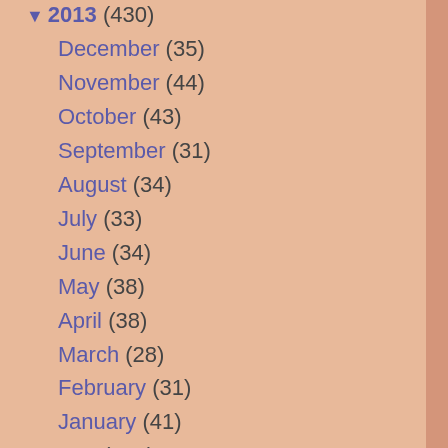▼ 2013 (430)
December (35)
November (44)
October (43)
September (31)
August (34)
July (33)
June (34)
May (38)
April (38)
March (28)
February (31)
January (41)
► 2012 (466)
► 2011 (519)
► 2010 (430)
► 2009 (363)
► 2008 (366)